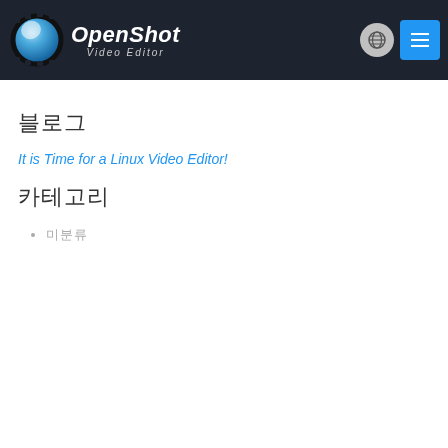OpenShot Video Editor
블로그
It is Time for a Linux Video Editor!
카테고리
미분류